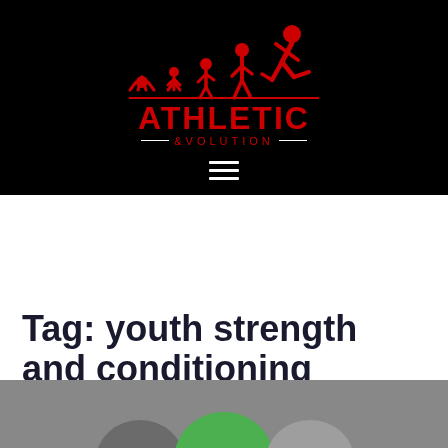[Figure (logo): Athletic Evolution logo: red silhouettes showing human evolution from crawling to running, with 'ATHLETIC' in bold red and 'EVOLUTION' below with dashes, on black background]
[Figure (other): Hamburger menu icon (three white horizontal bars) on black background]
Tag: youth strength and conditioning
[Figure (photo): Partial thumbnail image showing tops of children's heads with a green circular element, on grey background]